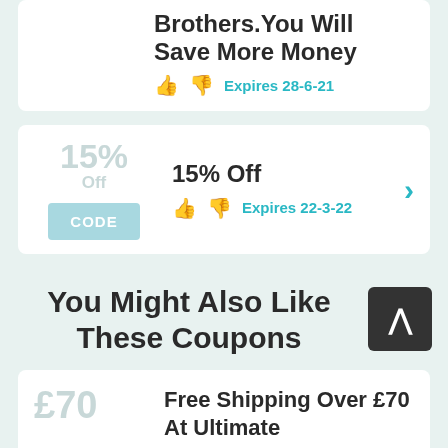Brothers. You Will Save More Money
Expires 28-6-21
15% Off
Expires 22-3-22
You Might Also Like These Coupons
Free Shipping Over £70 At Ultimate